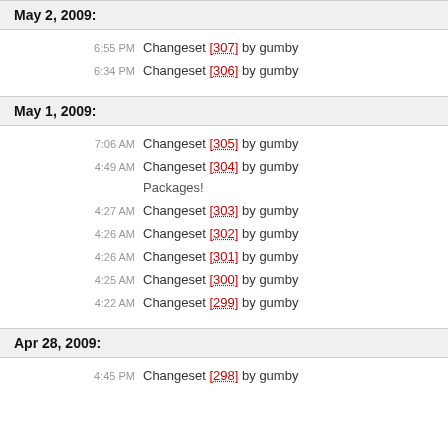May 2, 2009:
6:55 PM Changeset [307] by gumby
6:34 PM Changeset [306] by gumby
May 1, 2009:
7:06 AM Changeset [305] by gumby
4:49 AM Changeset [304] by gumby
Packages!
4:27 AM Changeset [303] by gumby
4:26 AM Changeset [302] by gumby
4:26 AM Changeset [301] by gumby
4:25 AM Changeset [300] by gumby
4:22 AM Changeset [299] by gumby
Apr 28, 2009:
4:45 PM Changeset [298] by gumby